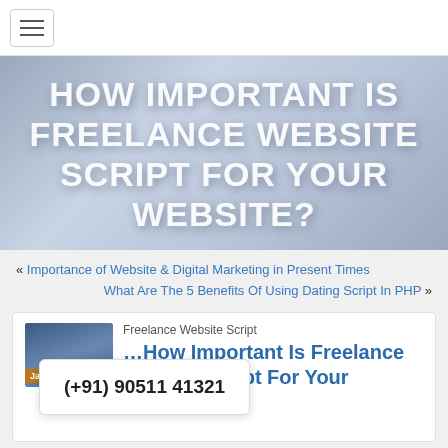Navigation bar with hamburger menu
HOW IMPORTANT IS FREELANCE WEBSITE SCRIPT FOR YOUR WEBSITE?
« Importance of Website & Digital Marketing in Present Times
What Are The 5 Benefits Of Using Dating Script In PHP »
[Figure (screenshot): Article thumbnail image for Freelance Website Script post, dated January 9]
Freelance Website Script
How Important Is Freelance Website Script For Your Website?
(+91) 90511 41321